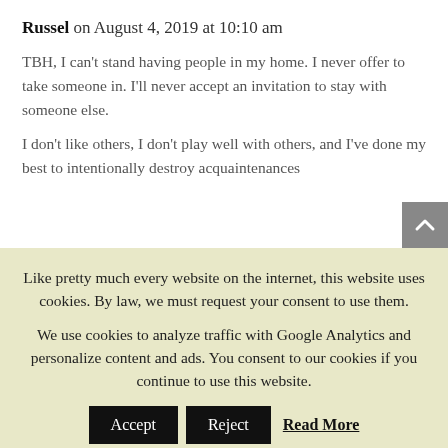Russel on August 4, 2019 at 10:10 am
TBH, I can't stand having people in my home. I never offer to take someone in. I'll never accept an invitation to stay with someone else.
I don't like others, I don't play well with others, and I've done my best to intentionally destroy acquaintenances
Like pretty much every website on the internet, this website uses cookies. By law, we must request your consent to use them.
We use cookies to analyze traffic with Google Analytics and personalize content and ads. You consent to our cookies if you continue to use this website.
Accept
Reject
Read More